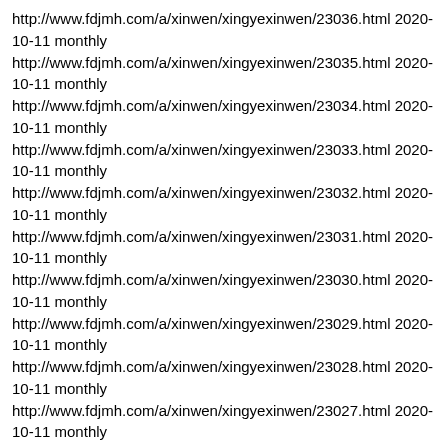http://www.fdjmh.com/a/xinwen/xingyexinwen/23036.html 2020-10-11 monthly
http://www.fdjmh.com/a/xinwen/xingyexinwen/23035.html 2020-10-11 monthly
http://www.fdjmh.com/a/xinwen/xingyexinwen/23034.html 2020-10-11 monthly
http://www.fdjmh.com/a/xinwen/xingyexinwen/23033.html 2020-10-11 monthly
http://www.fdjmh.com/a/xinwen/xingyexinwen/23032.html 2020-10-11 monthly
http://www.fdjmh.com/a/xinwen/xingyexinwen/23031.html 2020-10-11 monthly
http://www.fdjmh.com/a/xinwen/xingyexinwen/23030.html 2020-10-11 monthly
http://www.fdjmh.com/a/xinwen/xingyexinwen/23029.html 2020-10-11 monthly
http://www.fdjmh.com/a/xinwen/xingyexinwen/23028.html 2020-10-11 monthly
http://www.fdjmh.com/a/xinwen/xingyexinwen/23027.html 2020-10-11 monthly
http://www.fdjmh.com/a/xinwen/xingyexinwen/23026.html 2020-10-11 monthly
http://www.fdjmh.com/a/xinwen/xingyexinwen/23025.html 2020-10-11 monthly
http://www.fdjmh.com/a/xinwen/xingyexinwen/23024.html 2020-